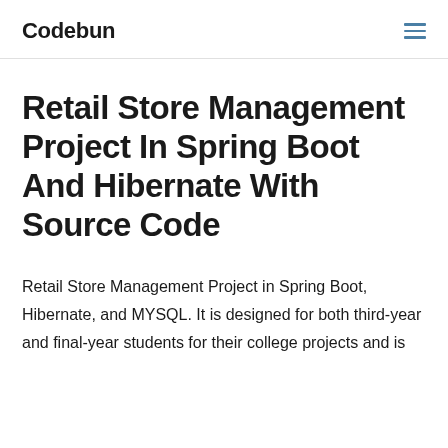Codebun
Retail Store Management Project In Spring Boot And Hibernate With Source Code
Retail Store Management Project in Spring Boot, Hibernate, and MYSQL. It is designed for both third-year and final-year students for their college projects and is